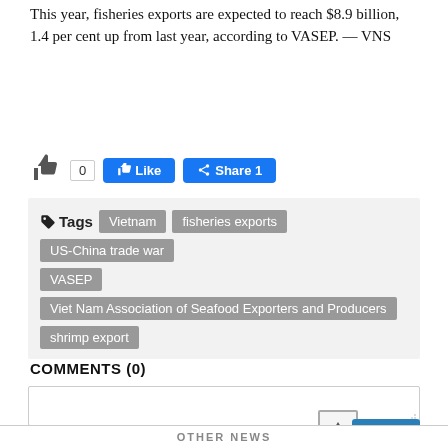This year, fisheries exports are expected to reach $8.9 billion, 1.4 per cent up from last year, according to VASEP. — VNS
[Figure (other): Social sharing buttons: thumbs up icon with count 0, Facebook Like button, Facebook Share button with count 1]
Tags: Vietnam, fisheries exports, US-China trade war, VASEP, Viet Nam Association of Seafood Exporters and Producers, shrimp export
COMMENTS (0)
[Figure (other): Comment text input box with resize handle and Send button]